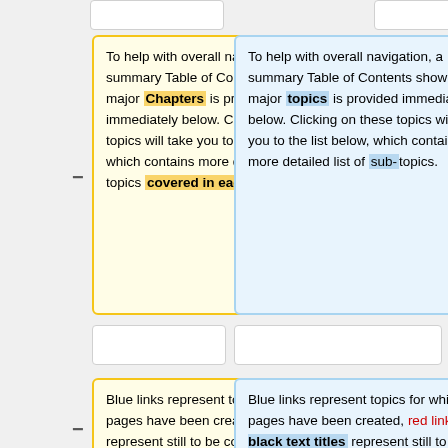To help with overall navigation, a summary Table of Contents showing major Chapters is provided immediately below. Clicking on these topics will take you to the list below, which contains more detailed list of topics covered in each Chapter.
To help with overall navigation, a summary Table of Contents showing major topics is provided immediately below. Clicking on these topics will take you to the list below, which contains more detailed list of sub-topics.
Blue links represent topics for which pages have been created, red links represent still to be completed topics (more opportunities for potential
Blue links represent topics for which pages have been created, red links and black text titles represent still to be completed topics (more